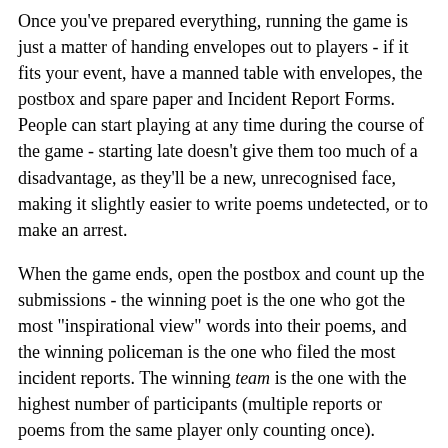Once you've prepared everything, running the game is just a matter of handing envelopes out to players - if it fits your event, have a manned table with envelopes, the postbox and spare paper and Incident Report Forms. People can start playing at any time during the course of the game - starting late doesn't give them too much of a disadvantage, as they'll be a new, unrecognised face, making it slightly easier to write poems undetected, or to make an arrest.
When the game ends, open the postbox and count up the submissions - the winning poet is the one who got the most "inspirational view" words into their poems, and the winning policeman is the one who filed the most incident reports. The winning team is the one with the highest number of participants (multiple reports or poems from the same player only counting once).
Poet instructions
You are a fugitive poet. Scattered around the walls of this world